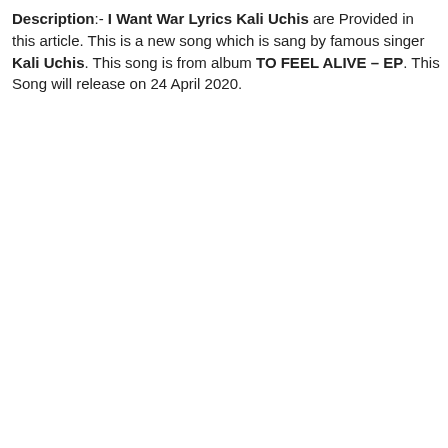Description:- I Want War Lyrics Kali Uchis are Provided in this article. This is a new song which is sang by famous singer Kali Uchis. This song is from album TO FEEL ALIVE – EP. This Song will release on 24 April 2020.